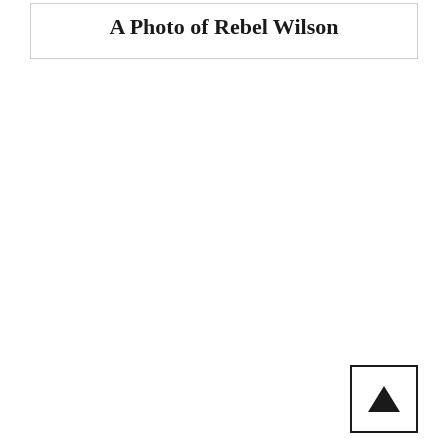A Photo of Rebel Wilson
[Figure (other): Back to top button with upward chevron arrow inside a square border, positioned at bottom right]